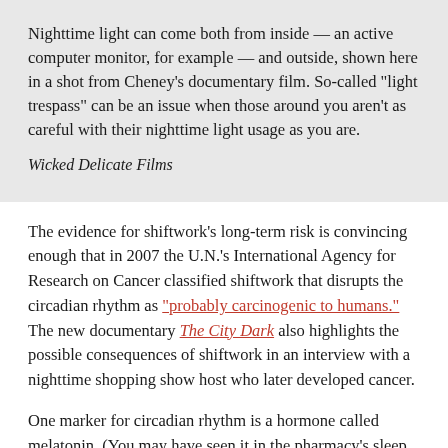Nighttime light can come both from inside — an active computer monitor, for example — and outside, shown here in a shot from Cheney's documentary film. So-called "light trespass" can be an issue when those around you aren't as careful with their nighttime light usage as you are.
Wicked Delicate Films
The evidence for shiftwork's long-term risk is convincing enough that in 2007 the U.N.'s International Agency for Research on Cancer classified shiftwork that disrupts the circadian rhythm as "probably carcinogenic to humans." The new documentary The City Dark also highlights the possible consequences of shiftwork in an interview with a nighttime shopping show host who later developed cancer.
One marker for circadian rhythm is a hormone called melatonin. (You may have seen it in the pharmacy's sleep aids section.) Our bodies naturally make more melatonin at night and less in the daytime, but darkness or exposure to...